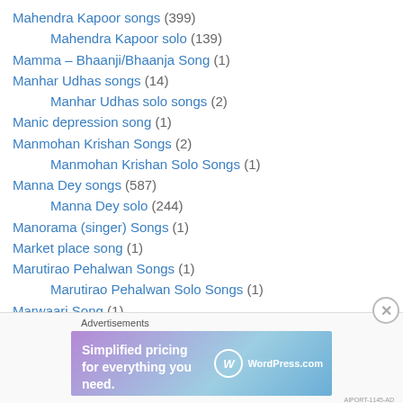Mahendra Kapoor songs (399)
Mahendra Kapoor solo (139)
Mamma – Bhaanji/Bhaanja Song (1)
Manhar Udhas songs (14)
Manhar Udhas solo songs (2)
Manic depression song (1)
Manmohan Krishan Songs (2)
Manmohan Krishan Solo Songs (1)
Manna Dey songs (587)
Manna Dey solo (244)
Manorama (singer) Songs (1)
Market place song (1)
Marutirao Pehalwan Songs (1)
Marutirao Pehalwan Solo Songs (1)
Marwaari Song (1)
Master Deen Songs (1)
[Figure (infographic): Advertisement banner for WordPress.com: 'Simplified pricing for everything you need.' with WordPress.com logo on gradient purple-blue background.]